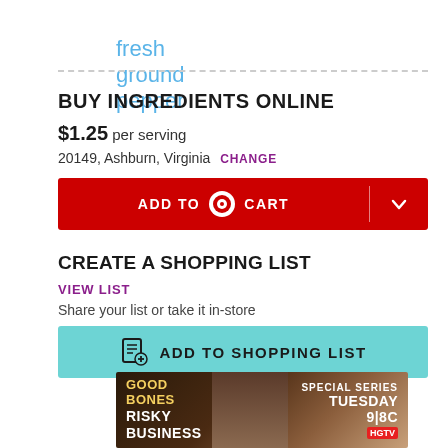fresh ground pepper
BUY INGREDIENTS ONLINE
$1.25 per serving
20149, Ashburn, Virginia  CHANGE
[Figure (screenshot): Red ADD TO CART button with Target logo and dropdown chevron]
CREATE A SHOPPING LIST
VIEW LIST
Share your list or take it in-store
[Figure (screenshot): Teal ADD TO SHOPPING LIST button with list icon]
Powered by Whisk
[Figure (screenshot): HGTV ad banner: Good Bones Risky Business, Special Series Tuesday 9|8c]